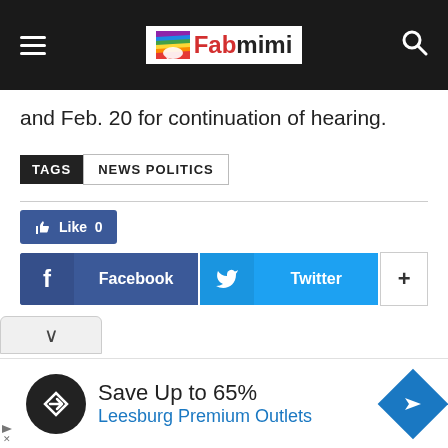Fabmimi
and Feb. 20 for continuation of hearing.
TAGS  NEWS POLITICS
[Figure (screenshot): Social sharing buttons: Like 0 button, Facebook share button, Twitter share button, and a plus button]
[Figure (screenshot): Advertisement banner: Save Up to 65% Leesburg Premium Outlets]
Save Up to 65% Leesburg Premium Outlets